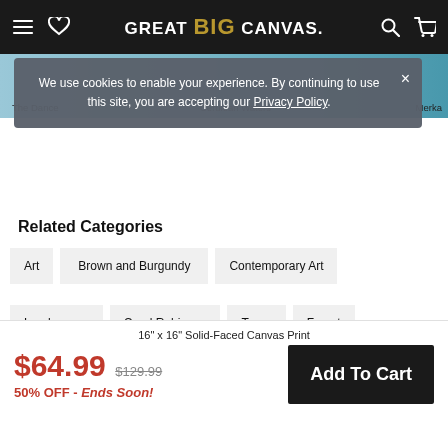GREAT BIG CANVAS.
[Figure (photo): Partial image strip showing colorful artwork thumbnails with labels 'The Dance', 'Cerulean Waters', 'Merka']
We use cookies to enable your experience. By continuing to use this site, you are accepting our Privacy Policy.
Related Categories
Art
Brown and Burgundy
Contemporary Art
Landscapes
Carol Robinson
Trees
Forest
16" x 16" Solid-Faced Canvas Print
$64.99  $129.99  50% OFF - Ends Soon!
Add To Cart